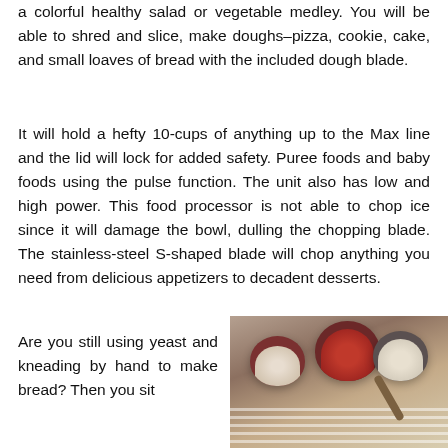a colorful healthy salad or vegetable medley. You will be able to shred and slice, make doughs–pizza, cookie, cake, and small loaves of bread with the included dough blade.
It will hold a hefty 10-cups of anything up to the Max line and the lid will lock for added safety. Puree foods and baby foods using the pulse function. The unit also has low and high power. This food processor is not able to chop ice since it will damage the bowl, dulling the chopping blade. The stainless-steel S-shaped blade will chop anything you need from delicious appetizers to decadent desserts.
Are you still using yeast and kneading by hand to make bread? Then you sit
[Figure (photo): Photo of baking ingredients in bowls: flour in a red bowl, tomato sauce in a dark red bowl, and white ingredient in a grey bowl, arranged on a white cloth with a wooden spoon, on a dark surface.]